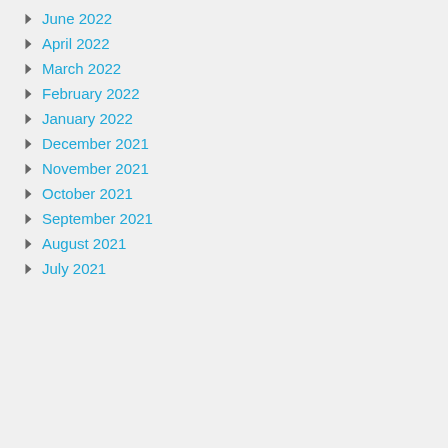June 2022
April 2022
March 2022
February 2022
January 2022
December 2021
November 2021
October 2021
September 2021
August 2021
July 2021